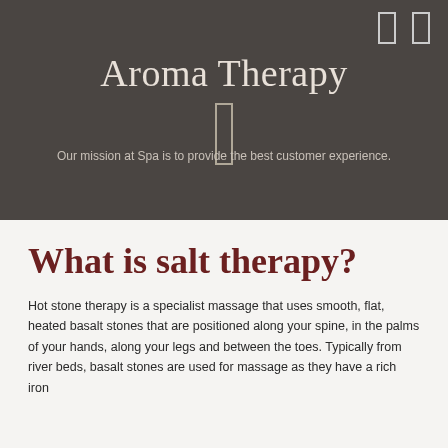Aroma Therapy
Our mission at Spa is to provide the best customer experience.
What is salt therapy?
Hot stone therapy is a specialist massage that uses smooth, flat, heated basalt stones that are positioned along your spine, in the palms of your hands, along your legs and between the toes. Typically from river beds, basalt stones are used for massage as they have a rich iron